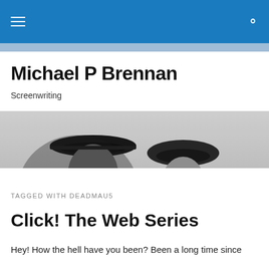Michael P Brennan – Navigation bar with hamburger menu and search icon
Michael P Brennan
Screenwriting
[Figure (photo): Black and white photo of a man and woman in hats facing each other closely, classic film noir style]
TAGGED WITH DEADMAU5
Click! The Web Series
Hey! How the hell have you been? Been a long time since